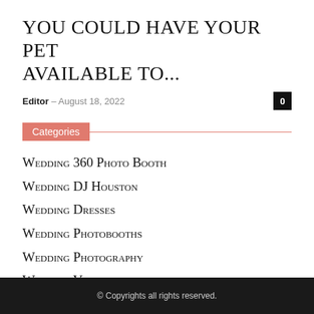You could have your pet available to...
Editor – August 18, 2022
Categories
Wedding 360 Photo Booth
Wedding DJ Houston
Wedding Dresses
Wedding Photobooths
Wedding Photography
Wedding Venues
© Copyrights all rights reserved.